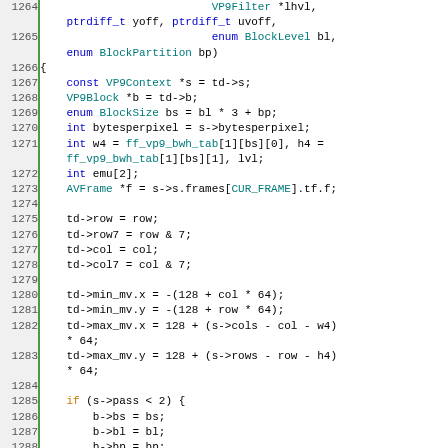[Figure (screenshot): Source code listing in C showing lines 1264-1291 of a VP9 video codec implementation, with syntax highlighting. Line numbers in left gutter, code on right with blue keywords, teal type names, and orange 'if' keyword.]